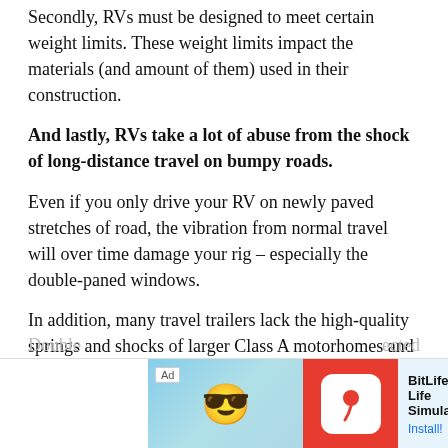Secondly, RVs must be designed to meet certain weight limits. These weight limits impact the materials (and amount of them) used in their construction.
And lastly, RVs take a lot of abuse from the shock of long-distance travel on bumpy roads.
Even if you only drive your RV on newly paved stretches of road, the vibration from normal travel will over time damage your rig – especially the double-paned windows.
In addition, many travel trailers lack the high-quality springs and shocks of larger Class A motorhomes and experience a higher amount of vibration during travel.
How Double-Paned Windows Fog Up
[Figure (screenshot): Advertisement banner for BitLife - Life Simulator app with cartoon character, red logo with sperm icon, and Install button]